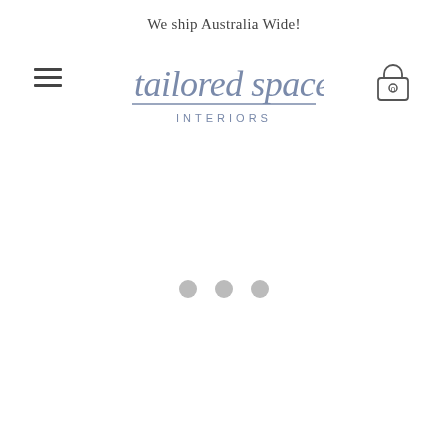We ship Australia Wide!
[Figure (logo): Tailored Space Interiors logo with script font and INTERIORS in uppercase below a horizontal rule]
[Figure (other): Hamburger menu icon (three horizontal lines)]
[Figure (other): Shopping cart/lock icon with 0 badge]
[Figure (other): Three grey loading dots / carousel indicators]